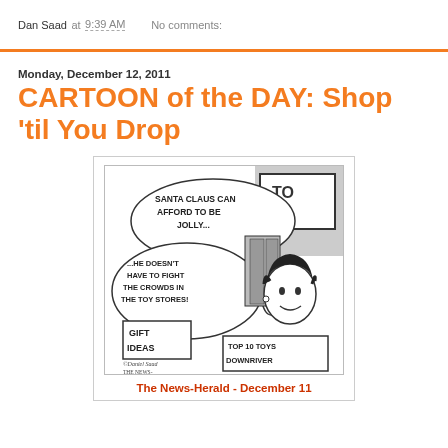Dan Saad at 9:39 AM   No comments:
Monday, December 12, 2011
CARTOON of the DAY: Shop 'til You Drop
[Figure (illustration): Editorial cartoon showing a stressed woman at a toy store. Speech bubbles read: 'SANTA CLAUS CAN AFFORD TO BE JOLLY... ...HE DOESN'T HAVE TO FIGHT THE CROWDS IN THE TOY STORES!' Signs visible: 'GIFT IDEAS', 'TOP 10 TOYS DOWNRIVER'. Artist signature: Daniel Saad / The News-Herald. Dated 12/11.]
The News-Herald - December 11